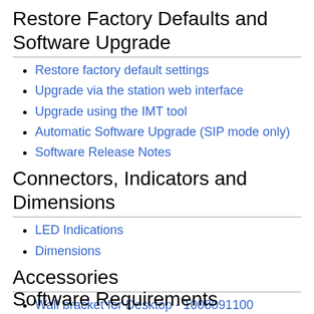Restore Factory Defaults and Software Upgrade
Restore factory default settings
Upgrade via the station web interface
Upgrade using the IMT tool
Automatic Software Upgrade (SIP mode only)
Software Release Notes
Connectors, Indicators and Dimensions
LED Indications
Dimensions
Accessories
Wall bracket for Desktop - 1008091100
Software Requirements